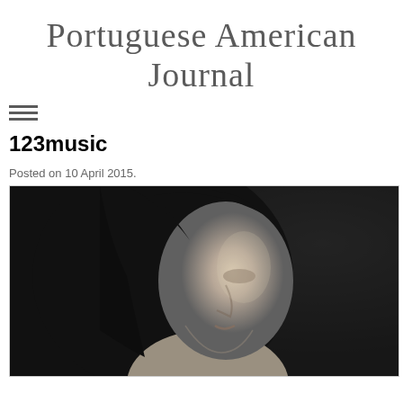Portuguese American Journal
123music
Posted on 10 April 2015.
[Figure (photo): Black and white portrait photograph of a woman with long dark hair, looking slightly upward, against a dark background]